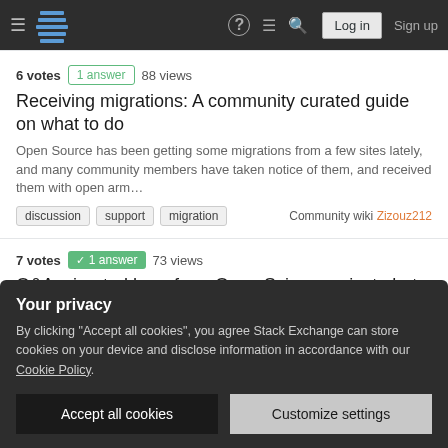Stack Exchange navigation bar with hamburger menu, logo, help, chat, search icons, Log in and Sign up buttons
6 votes  1 answer  88 views
Receiving migrations: A community curated guide on what to do
Open Source has been getting some migrations from a few sites lately, and many community members have taken notice of them, and received them with open arm…
discussion  support  migration  Community wiki Zizouz212
7 votes  1 answer  73 views
Q&A migrated here from Open Science private beta is 404-ing
Your privacy
By clicking "Accept all cookies", you agree Stack Exchange can store cookies on your device and disclose information in accordance with our Cookie Policy.
Accept all cookies
Customize settings
Did I manage to post an answer twice, or what?
As it looks, if you visit a question from IBA Mention in an QS list...